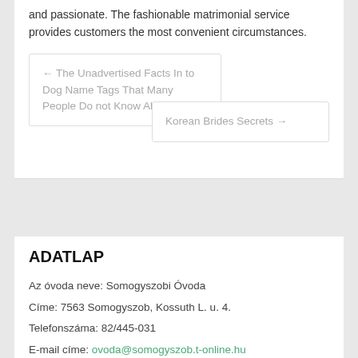and passionate. The fashionable matrimonial service provides customers the most convenient circumstances.
← The Unadvertised Facts In to Dog Name Tags That Many People Do not Know About
Korean Brides Secrets →
ADATLAP
Az óvoda neve: Somogyszobi Óvoda
Címe: 7563 Somogyszob, Kossuth L. u. 4.
Telefonszáma: 82/445-031
E-mail címe: ovoda@somogyszob.t-online.hu
Az óvoda fenntartója: Somogyszob Községi Önkormányzat